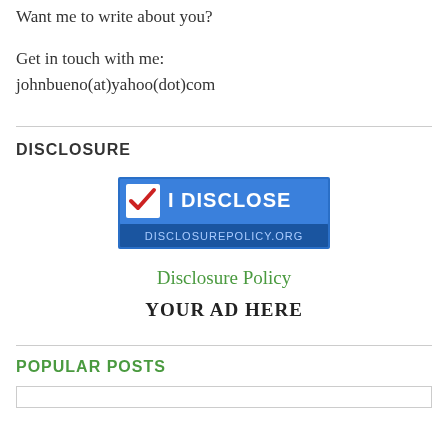Want me to write about you?
Get in touch with me: johnbueno(at)yahoo(dot)com
DISCLOSURE
[Figure (logo): I Disclose badge from disclosurepolicy.org — blue rectangle with checkmark and text 'I DISCLOSE' and 'DISCLOSUREPOLICY.ORG']
Disclosure Policy
YOUR AD HERE
POPULAR POSTS